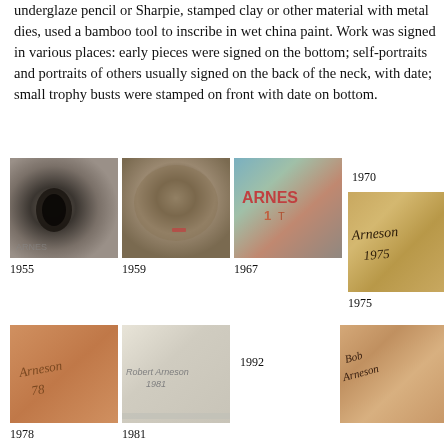underglaze pencil or Sharpie, stamped clay or other material with metal dies, used a bamboo tool to inscribe in wet china paint. Work was signed in various places: early pieces were signed on the bottom; self-portraits and portraits of others usually signed on the back of the neck, with date; small trophy busts were stamped on front with date on bottom.
[Figure (photo): Photo of bottom of ceramic piece signed 1955]
1955
[Figure (photo): Photo of bottom of ceramic piece signed 1959]
1959
[Figure (photo): Photo showing ARNES inscription in ceramic 1967]
1967
1970
[Figure (photo): Photo of ceramic signed Arneson 1975]
1975
[Figure (photo): Photo of ceramic signed 1978]
1978
[Figure (photo): Photo of ceramic signed Robert Arneson 1981]
1981
1992
[Figure (photo): Photo of ceramic signed Bob Arneson]